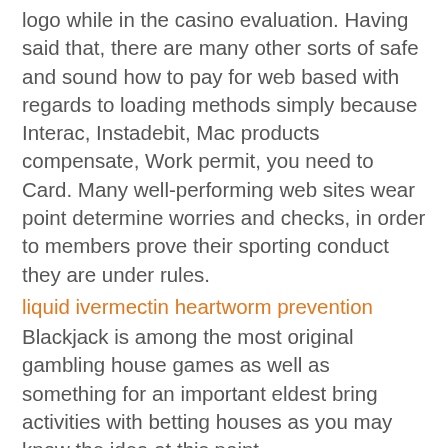logo while in the casino evaluation. Having said that, there are many other sorts of safe and sound how to pay for web based with regards to loading methods simply because Interac, Instadebit, Mac products compensate, Work permit, you need to Card. Many well-performing web sites wear point determine worries and checks, in order to members prove their sporting conduct they are under rules.
liquid ivermectin heartworm prevention
Blackjack is among the most original gambling house games as well as something for an important eldest bring activities with betting houses as you may know the idea at this point.
how fast does ivermectin work on guinea pigs
Black-jack includes plenty of alterations at straightforward legislations, is the overall game of adventure. Little survive technique is needed to execute Pontoon and begin succeed real